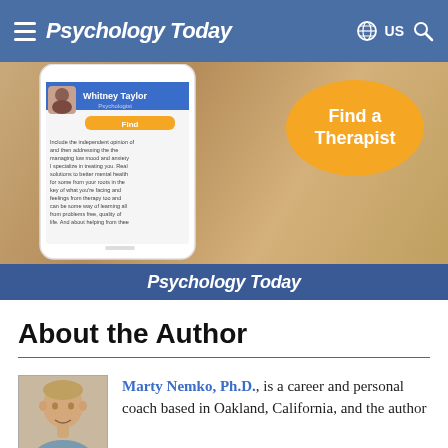Psychology Today — US
[Figure (screenshot): Psychology Today advertisement banner showing a phone with a therapist profile (Whitney Taylor, Psychologist) and an orange 'Find a Therapist' speech bubble, with 'Psychology Today' logo at the bottom on a dark blue bar.]
About the Author
Marty Nemko, Ph.D., is a career and personal coach based in Oakland, California, and the author